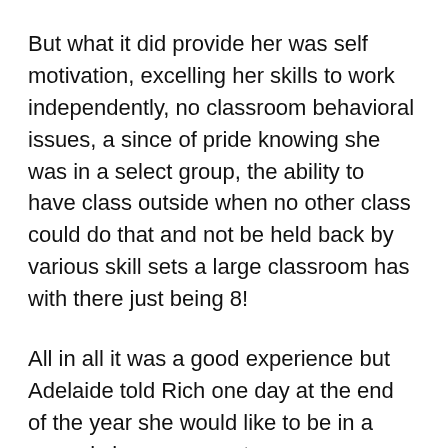But what it did provide her was self motivation, excelling her skills to work independently, no classroom behavioral issues, a since of pride knowing she was in a select group, the ability to have class outside when no other class could do that and not be held back by various skill sets a large classroom has with there just being 8!
All in all it was a good experience but Adelaide told Rich one day at the end of the year she would like to be in a normal classroom next year.
So...we wrote the teacher and explained how thankful we were for her but she wanted to go back to a traditional classroom and she replied with the